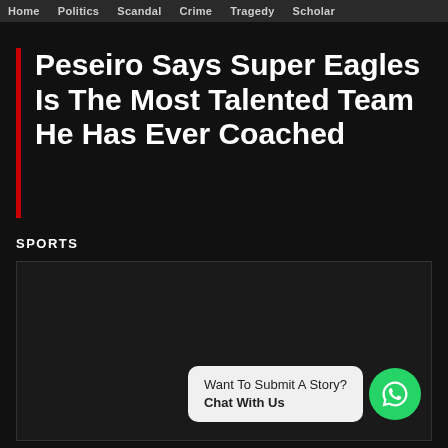Home  Politics  Scandal  Crime  Tragedy  Scholar
Peseiro Says Super Eagles Is The Most Talented Team He Has Ever Coached
SPORTS
[Figure (photo): Dark image placeholder with WhatsApp chat widget overlay showing 'Want To Submit A Story? Chat With Us' and a green WhatsApp button]